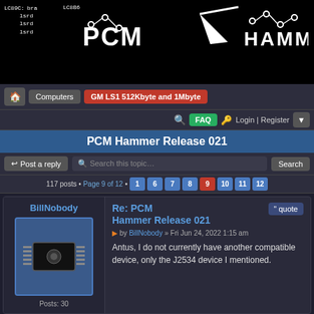[Figure (screenshot): Black header banner with PCM Hammer forum logo. Left side shows assembly code labels: LC89C: bra, lsrd, lsrd, lsrd and LC8B6. Right side shows circuit-board style logo text 'PCM Hammer' with electronic component graphics.]
Computers | GM LS1 512Kbyte and 1Mbyte
PCM Hammer Release 021
Post a reply | Search this topic... | Search
117 posts • Page 9 of 12 • 1 6 7 8 9 10 11 12
BillNobody
Re: PCM Hammer Release 021
by BillNobody » Fri Jun 24, 2022 1:15 am
Antus, I do not currently have another compatible device, only the J2534 device I mentioned.
Posts: 30